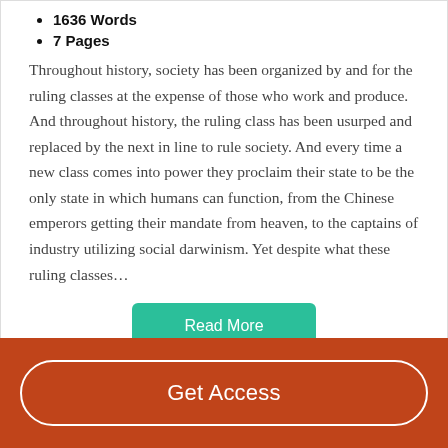1636 Words
7 Pages
Throughout history, society has been organized by and for the ruling classes at the expense of those who work and produce. And throughout history, the ruling class has been usurped and replaced by the next in line to rule society. And every time a new class comes into power they proclaim their state to be the only state in which humans can function, from the Chinese emperors getting their mandate from heaven, to the captains of industry utilizing social darwinism. Yet despite what these ruling classes…
[Figure (other): Green 'Read More' button]
[Figure (other): Brown/orange footer bar with 'Get Access' button outlined in white]